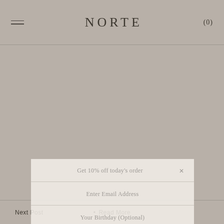NORTE  (0)
FEATURED IN THIS POST
[Figure (screenshot): Modal popup form with fields: Get 10% off today's order (header with close X), Enter Email Address, Your Birthday (Optional), Submit with arrow]
Next Post  •  Read More